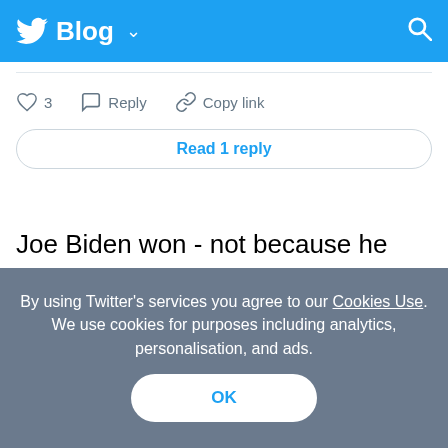Twitter Blog
3  Reply  Copy link
Read 1 reply
Joe Biden won - not because he was aggressive which he was - but because he didn't let Ryan get away with making stuff up.
By using Twitter's services you agree to our Cookies Use. We use cookies for purposes including analytics, personalisation, and ads.
OK